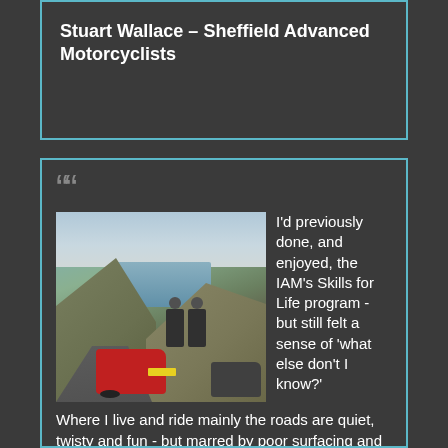Stuart Wallace – Sheffield Advanced Motorcyclists
[Figure (photo): Two motorcyclists standing beside their parked motorcycles on a narrow road in a hilly landscape with a lake or reservoir visible in the background.]
I'd previously done, and enjoyed, the IAM's Skills for Life program - but still felt a sense of 'what else don't I know?'
Where I live and ride mainly the roads are quiet, twisty and fun - but marred by poor surfacing and dozy drivers. I wanted more